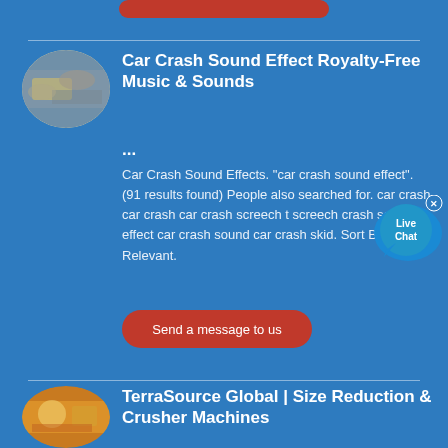[Figure (other): Partial red rounded button at top of page]
[Figure (photo): Oval thumbnail image of helicopter/military scene]
Car Crash Sound Effect Royalty-Free Music & Sounds ...
Car Crash Sound Effects. "car crash sound effect". (91 results found) People also searched for. car crash car crash car crash screech t screech crash sound effect car crash sound car crash skid. Sort By. Most Relevant.
[Figure (other): Live Chat bubble widget with X close button]
Send a message to us
[Figure (photo): Oval thumbnail image of industrial/crusher machine]
TerraSource Global | Size Reduction & Crusher Machines
Our Size Reduction machines efficiently